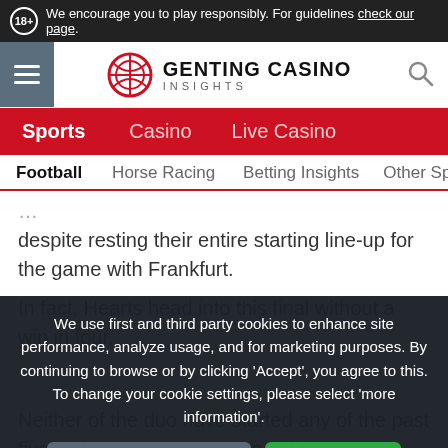18+ We encourage you to play responsibly. For guidelines check our page.
[Figure (logo): Genting Casino Insights logo with hamburger menu and search icon]
Sports | Casino | Live Casino navigation bar
Football | Horse Racing | Betting Insights | Other Sp... sub-navigation
despite resting their entire starting line-up for the game with Frankfurt.
In fact, Hearts head into this final without a win in four,
We use first and third party cookies to enhance site performance, analyze usage, and for marketing purposes. By continuing to browse or by clicking ‘Accept’, you agree to this. To change your cookie settings, please select ‘more information’.
Neither of the duo have started any of the past five outings with Hearts conceding at least twice in four of